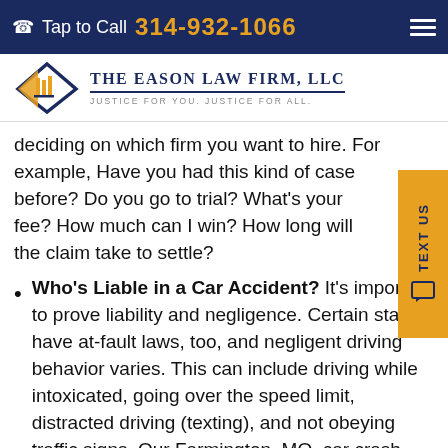Tap to Call 314-932-1066
[Figure (logo): The Eason Law Firm, LLC logo with diamond/gavel icon and tagline: JUSTICE FOR YOU. JUSTICE FOR ALL.]
deciding on which firm you want to hire. For example, Have you had this kind of case before? Do you go to trial? What's your fee? How much can I win? How long will the claim take to settle?
Who's Liable in a Car Accident? It's important to prove liability and negligence. Certain states have at-fault laws, too, and negligent driving behavior varies. This can include driving while intoxicated, going over the speed limit, distracted driving (texting), and not obeying traffic signs. Our Farmington, MO, car crash lawyers will investigate to determine who is liable and at-fault.
How do I settle a car accident claim? One of the first steps is finding a lawyer that can help you file a claim. An insurer (or negligent party) may offer